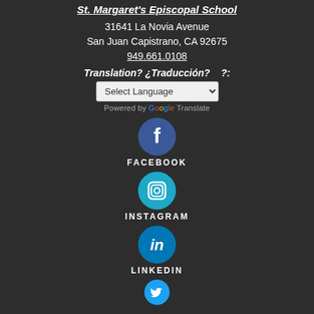St. Margaret's Episcopal School
31641 La Novia Avenue
San Juan Capistrano, CA 92675
949.661.0108
Translation? ¿Traducción?     ?:
[Figure (screenshot): Select Language dropdown widget with Google Translate branding]
[Figure (logo): Facebook social media icon - blue circle with white 'f' logo, labeled FACEBOOK]
[Figure (logo): Instagram social media icon - teal/blue circle with camera logo, labeled INSTAGRAM]
[Figure (logo): LinkedIn social media icon - blue circle with 'in' logo, labeled LINKEDIN]
[Figure (logo): Twitter social media icon - blue circle with bird logo, partially visible]